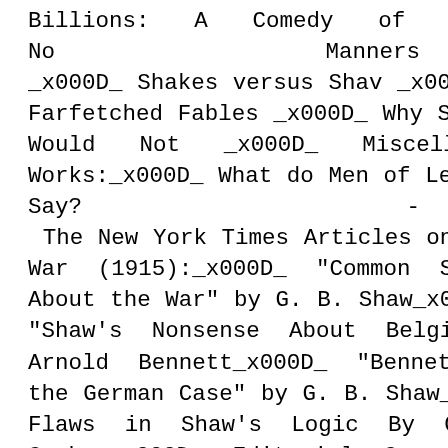Billions: A Comedy of No Manners _x000D_ Shakes versus Shav _x000D_ Farfetched Fables _x000D_ Why She Would Not _x000D_ Miscellaneous Works:_x000D_ What do Men of Letters Say? - The New York Times Articles on War (1915):_x000D_ "Common Sense About the War" by G. B. Shaw_x000D_ "Shaw's Nonsense About Belgium" By Arnold Bennett_x000D_ "Bennett States the German Case" by G. B. Shaw_x000D_ Flaws in Shaw's Logic By Cunninghame Graham_x000D_ Editorial Comment on Shaw By The New York World_x000D_ Comment by Readers of Shaw To the